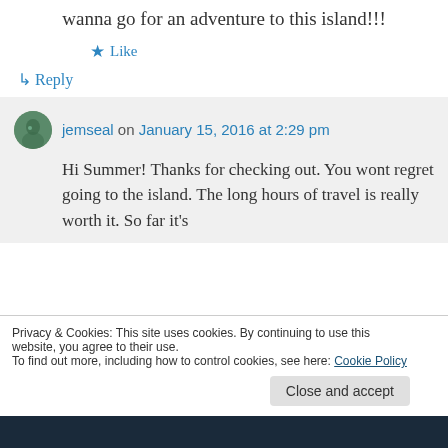wanna go for an adventure to this island!!!
★ Like
↳ Reply
jemseal on January 15, 2016 at 2:29 pm
Hi Summer! Thanks for checking out. You wont regret going to the island. The long hours of travel is really worth it. So far it's
Privacy & Cookies: This site uses cookies. By continuing to use this website, you agree to their use. To find out more, including how to control cookies, see here: Cookie Policy
Close and accept